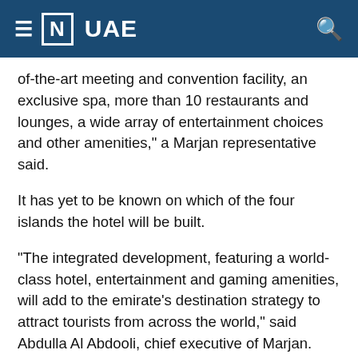≡ [N] UAE
of-the-art meeting and convention facility, an exclusive spa, more than 10 restaurants and lounges, a wide array of entertainment choices and other amenities," a Marjan representative said.
It has yet to be known on which of the four islands the hotel will be built.
“The integrated development, featuring a world-class hotel, entertainment and gaming amenities, will add to the emirate’s destination strategy to attract tourists from across the world,” said Abdulla Al Abdooli, chief executive of Marjan.